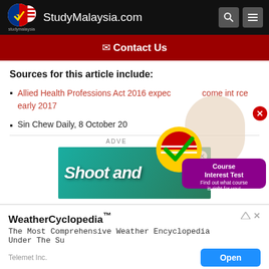[Figure (logo): StudyMalaysia.com website header with logo (Malaysian flag design), site name, search and menu icons on black background]
✉ Contact Us
Sources for this article include:
Allied Health Professions Act 2016 expected to come into force early 2017
Sin Chew Daily, 8 October 20[16]
ADVERTISEMENT
[Figure (screenshot): Advertisement banner showing 'Shoot and [bubbles]' game ad on teal/green background]
[Figure (infographic): Course Interest Test popup with StudyMalaysia logo checkmark, girl thinking, purple speech bubble 'Find out what course is right for you!']
[Figure (screenshot): WeatherCyclopedia bottom ad: 'WeatherCyclopedia™ The Most Comprehensive Weather Encyclopedia Under The Su[n]' by Telemet Inc. with Open button]